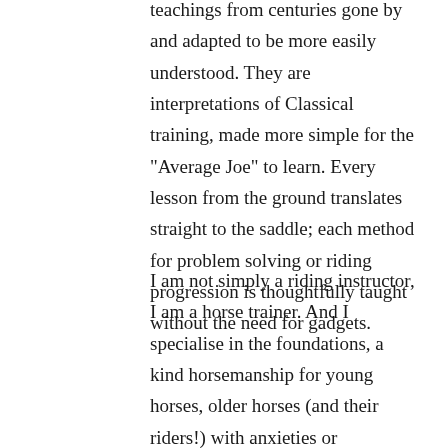teachings from centuries gone by and adapted to be more easily understood. They are interpretations of Classical training, made more simple for the "Average Joe" to learn. Every lesson from the ground translates straight to the saddle; each method for problem solving or riding progression is thoughtfully taught without the need for gadgets.
I am not simply a riding instructor, I am a horse trainer. And I specialise in the foundations, a kind horsemanship for young horses, older horses (and their riders!) with anxieties or behavioural misunderstandings. I incorporate body language into my lessons to help with